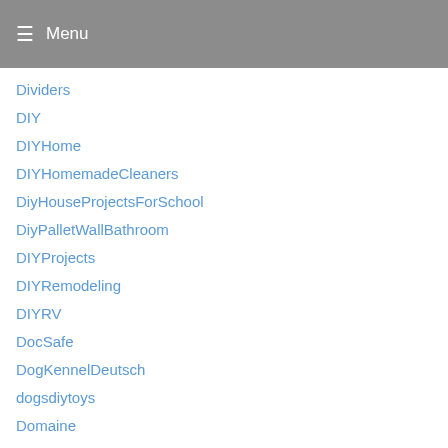Menu
Dividers
DIY
DIYHome
DIYHomemadeCleaners
DiyHouseProjectsForSchool
DiyPalletWallBathroom
DIYProjects
DIYRemodeling
DIYRV
DocSafe
DogKennelDeutsch
dogsdiytoys
Domaine
door
DoorWindow
DoorWindowGlassChannel2002FordExplorer
DormRoomOrganization